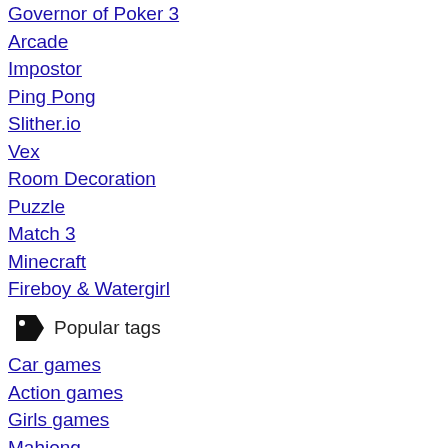Governor of Poker 3
Arcade
Impostor
Ping Pong
Slither.io
Vex
Room Decoration
Puzzle
Match 3
Minecraft
Fireboy & Watergirl
Popular tags
Car games
Action games
Girls games
Mahjong
Sports games
Animal games
Match 3
Multiplayer games
Racing games
Arcade
Ping Pong
Soccer games
Minecraft